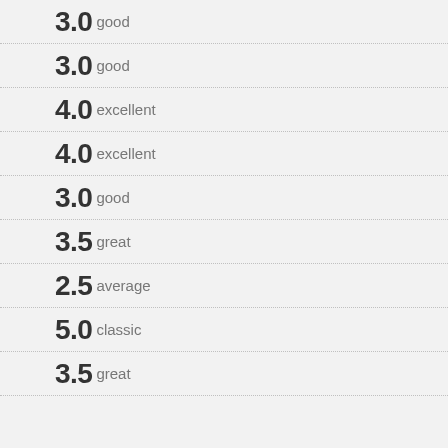3.0 good
3.0 good
4.0 excellent
4.0 excellent
3.0 good
3.5 great
2.5 average
5.0 classic
3.5 great